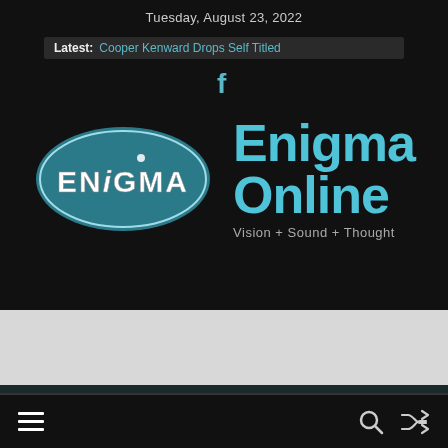Tuesday, August 23, 2022
Latest: Cooper Kenward Drops Self Titled
[Figure (logo): Facebook icon - letter f in teal/cyan color]
[Figure (logo): ENIGMA oval logo in teal with white 3D text on dark background, with site title 'Enigma Online' and tagline 'Vision + Sound + Thought']
Navigation bar with hamburger menu, search icon, and shuffle icon